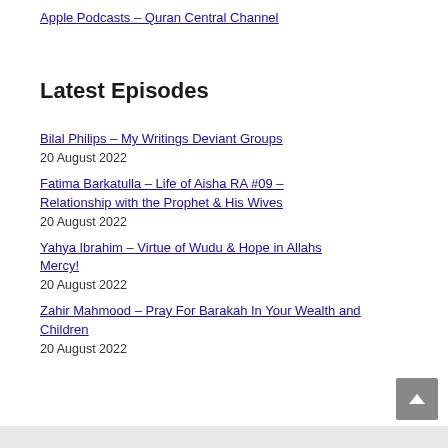Apple Podcasts – Quran Central Channel
Latest Episodes
Bilal Philips – My Writings Deviant Groups
20 August 2022
Fatima Barkatulla – Life of Aisha RA #09 – Relationship with the Prophet & His Wives
20 August 2022
Yahya Ibrahim – Virtue of Wudu & Hope in Allahs Mercy!
20 August 2022
Zahir Mahmood – Pray For Barakah In Your Wealth and Children
20 August 2022